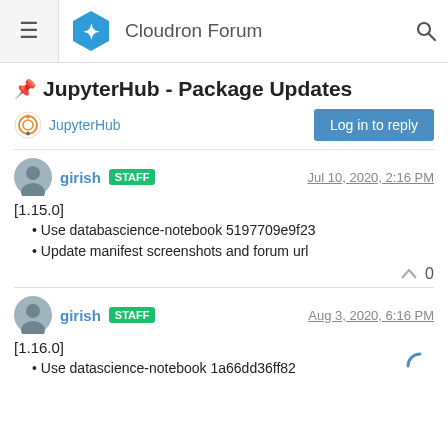Cloudron Forum
📌 JupyterHub - Package Updates
JupyterHub
girish STAFF — Jul 10, 2020, 2:16 PM
[1.15.0]
Use databascience-notebook 5197709e9f23
Update manifest screenshots and forum url
0
girish STAFF — Aug 3, 2020, 6:16 PM
[1.16.0]
Use datascience-notebook 1a66dd36ff82